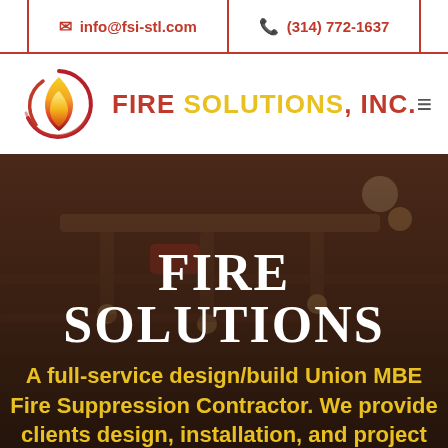info@fsi-stl.com  |  (314) 772-1637
[Figure (logo): Fire Solutions, Inc. logo — flame icon with circular swoosh, brand name 'FIRE SOLUTIONS, INC.' in red and gold]
FIRE SOLUTIONS
A full-service design/build Union MBE Fire Suppression Contractor. We provide clients design, installation, and project